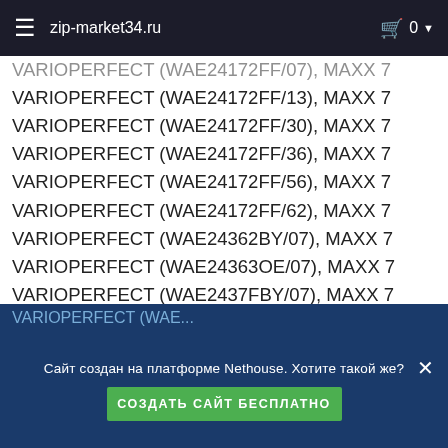zip-market34.ru
VARIOPERFECT (WAE24172FF/07), MAXX 7
VARIOPERFECT (WAE24172FF/13), MAXX 7
VARIOPERFECT (WAE24172FF/30), MAXX 7
VARIOPERFECT (WAE24172FF/36), MAXX 7
VARIOPERFECT (WAE24172FF/56), MAXX 7
VARIOPERFECT (WAE24172FF/62), MAXX 7
VARIOPERFECT (WAE24362BY/07), MAXX 7
VARIOPERFECT (WAE24363OE/07), MAXX 7
VARIOPERFECT (WAE2437FBY/07), MAXX 7
VARIOPERFECT (WAE2438EPL/03), MAXX 7
VARIOPERFECT (WAE24443BY/08), MAXX 7
VARIOPERFECT (WAE2447FPL/27), MAXX 7
VARIOPERFECT (WAE2447FPL/30), MAXX 7
VARIOPERFECT (WAE28160EP/07), MAXX 7
VARIOPERFECT (WAE28171FF/03), MAXX 7
Сайт создан на платформе Nethouse. Хотите такой же?
СОЗДАТЬ САЙТ БЕСПЛАТНО